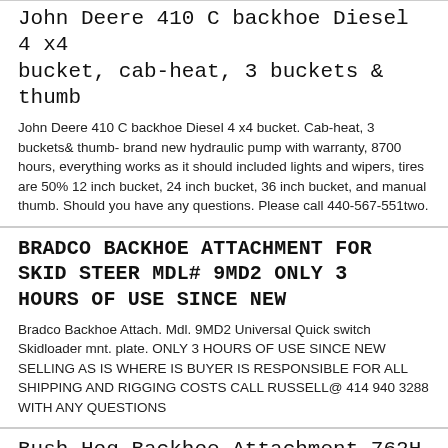John Deere 410 C backhoe Diesel 4 x4 bucket, cab-heat, 3 buckets & thumb
John Deere 410 C backhoe Diesel 4 x4 bucket. Cab-heat, 3 buckets& thumb- brand new hydraulic pump with warranty, 8700 hours, everything works as it should included lights and wipers, tires are 50% 12 inch bucket, 24 inch bucket, 36 inch bucket, and manual thumb. Should you have any questions. Please call 440-567-551two.
BRADCO BACKHOE ATTACHMENT FOR SKID STEER MDL# 9MD2 ONLY 3 HOURS OF USE SINCE NEW
Bradco Backhoe Attach. Mdl. 9MD2 Universal Quick switch Skidloader mnt. plate. ONLY 3 HOURS OF USE SINCE NEW SELLING AS IS WHERE IS BUYER IS RESPONSIBLE FOR ALL SHIPPING AND RIGGING COSTS CALL RUSSELL@ 414 940 3288 WITH ANY QUESTIONS
Bush Hog Backhoe Attachment 762H - 3 point mount
This is a nice Bush Hog 762H 3-point mount backhoe. It comes with a 12 and 16 inch buckets. I bought this used 5 or so years ago to do some minor digging and now that I am done it doesn't get used enough to justify tying up a tractor with it on. I just used it a few weeks ago and unfortunately blew one of the hydraulic hoses(just a normal flexible hose, not a metal line) and I decided that rather than fix it I would just